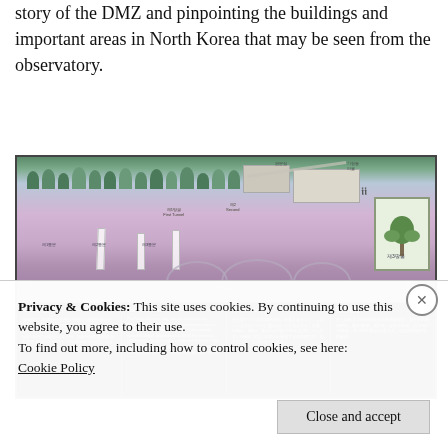story of the DMZ and pinpointing the buildings and important areas in North Korea that may be seen from the observatory.
[Figure (photo): An informational display board showing a cross-section diagram of the Third Tunnel (제3땅굴) with Korean and Japanese text panels. The diagram shows an underground tunnel cross-section with trees, buildings, monuments, and scale information. The lower portion has four text columns in Korean, English ('The Third Tunnel'), Japanese (第三トンネル), and Chinese (第三地道) describing the tunnel.]
Privacy & Cookies: This site uses cookies. By continuing to use this website, you agree to their use.
To find out more, including how to control cookies, see here: Cookie Policy